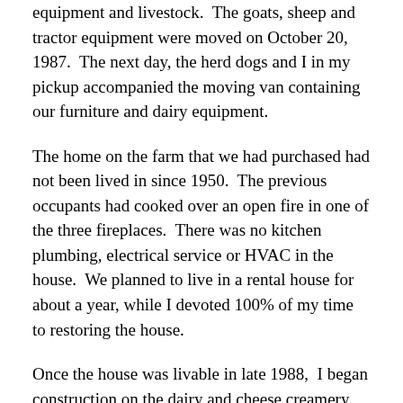equipment and livestock.  The goats, sheep and tractor equipment were moved on October 20, 1987.  The next day, the herd dogs and I in my pickup accompanied the moving van containing our furniture and dairy equipment.
The home on the farm that we had purchased had not been lived in since 1950.  The previous occupants had cooked over an open fire in one of the three fireplaces.  There was no kitchen plumbing, electrical service or HVAC in the house.  We planned to live in a rental house for about a year, while I devoted 100% of my time to restoring the house.
Once the house was livable in late 1988,  I began construction on the dairy and cheese creamery.  However, at this point, my ex-wife began demanding that we not build the creamery and instead put the